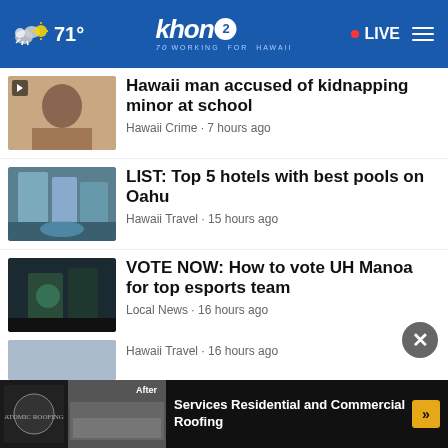71° khon2 WORKING FOR HAWAII • LIVE
Hawaii man accused of kidnapping minor at school — Hawaii Crime • 7 hours ago
LIST: Top 5 hotels with best pools on Oahu — Hawaii Travel • 15 hours ago
VOTE NOW: How to vote UH Manoa for top esports team — Local News • 16 hours ago
Suspect charged in Hilo officer-involved shooting — Big Island News • 15 hours ago
IRONMAN returns to Hawaii after COVID break — Local News • 16 hours ago
[Figure (screenshot): Advertisement banner: Services Residential and Commercial Roofing with before/after roofing images]
Hawaii Travel • 16 hours ago (partial)